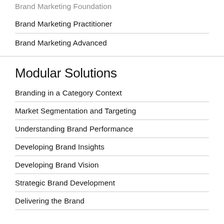Brand Marketing Foundation
Brand Marketing Practitioner
Brand Marketing Advanced
Modular Solutions
Branding in a Category Context
Market Segmentation and Targeting
Understanding Brand Performance
Developing Brand Insights
Developing Brand Vision
Strategic Brand Development
Delivering the Brand